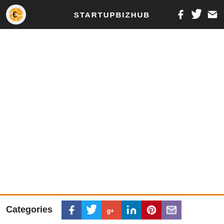STARTUPBIZHUB
Categories
[Figure (other): Social share buttons: Facebook, Twitter, Google+, LinkedIn, Pinterest, Email]